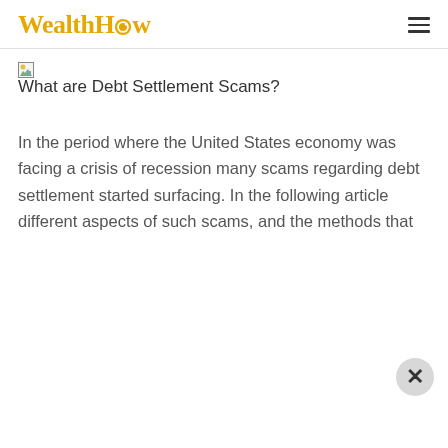WealthHow
[Figure (illustration): Broken image placeholder with alt text 'What are Debt Settlement Scams?']
What are Debt Settlement Scams?
In the period where the United States economy was facing a crisis of recession many scams regarding debt settlement started surfacing. In the following article different aspects of such scams, and the methods that